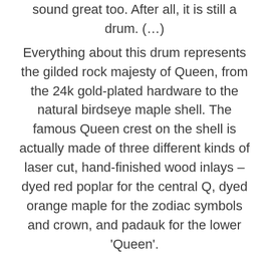sound great too. After all, it is still a drum. (…)
Everything about this drum represents the gilded rock majesty of Queen, from the 24k gold-plated hardware to the natural birdseye maple shell. The famous Queen crest on the shell is actually made of three different kinds of laser cut, hand-finished wood inlays – dyed red poplar for the central Q, dyed orange maple for the zodiac symbols and crown, and padauk for the lower 'Queen'.
As with all Collector's Series drums, this one includes a MAG throw-off and 3P Butt Plate to give you fine-tuned control and multiple settings for your snare tension, True-Hoops that keep the heads where they need to be, True-Tone snare wires, True-Pitch tuning, and